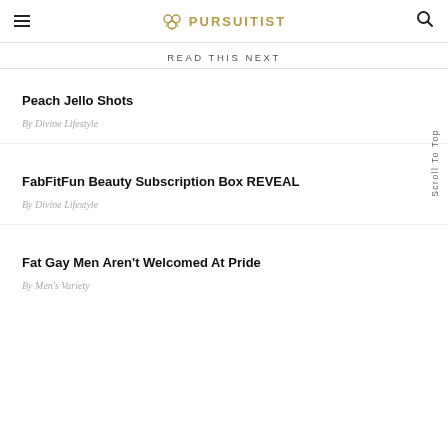PURSUITIST
READ THIS NEXT
Peach Jello Shots
By Divine Lifestyle
FabFitFun Beauty Subscription Box REVEAL
By Divine Lifestyle
Fat Gay Men Aren't Welcomed At Pride
By Men's Variety